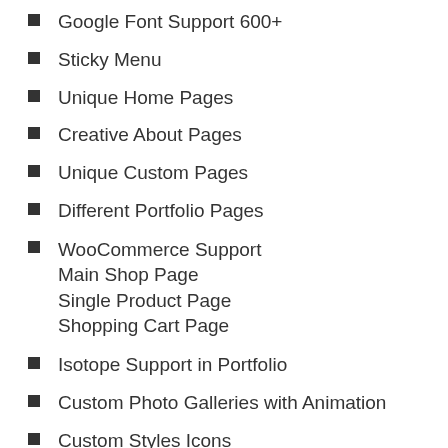Google Font Support 600+
Sticky Menu
Unique Home Pages
Creative About Pages
Unique Custom Pages
Different Portfolio Pages
WooCommerce Support
Main Shop Page
Single Product Page
Shopping Cart Page
Isotope Support in Portfolio
Custom Photo Galleries with Animation
Custom Styles Icons
High Speed Loading